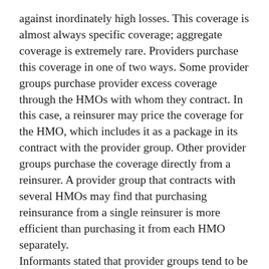against inordinately high losses. This coverage is almost always specific coverage; aggregate coverage is extremely rare. Providers purchase this coverage in one of two ways. Some provider groups purchase provider excess coverage through the HMOs with whom they contract. In this case, a reinsurer may price the coverage for the HMO, which includes it as a package in its contract with the provider group. Other provider groups purchase the coverage directly from a reinsurer. A provider group that contracts with several HMOs may find that purchasing reinsurance from a single reinsurer is more efficient than purchasing it from each HMO separately.
Informants stated that provider groups tend to be thinly capitalized and want to purchase a significant level of protection. Informants suggested that a number of provider groups are still relatively unsophisticated and sometimes reinsure too much of their risk. On the